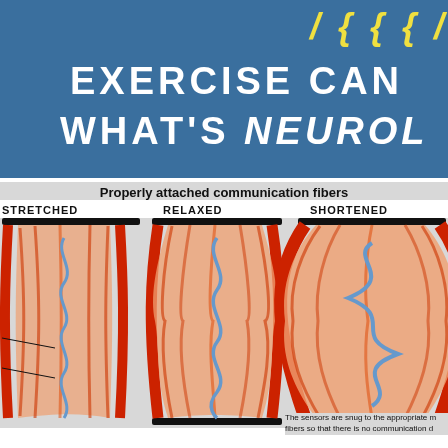EXERCISE CAN WHAT'S NEUROL
Properly attached communication fibers
[Figure (infographic): Three anatomical diagrams showing muscle fiber states: STRETCHED (long, thin muscle with blue spiral communication fiber), RELAXED (fusiform muscle shape with blue spiral fiber), and SHORTENED (wide bulging muscle with compressed blue spiral fiber). Each has a black bar at top and/or bottom indicating attachment points. Pointer lines on the left side indicate fiber labels.]
The sensors are snug to the appropriate m fibers so that there is no communication d